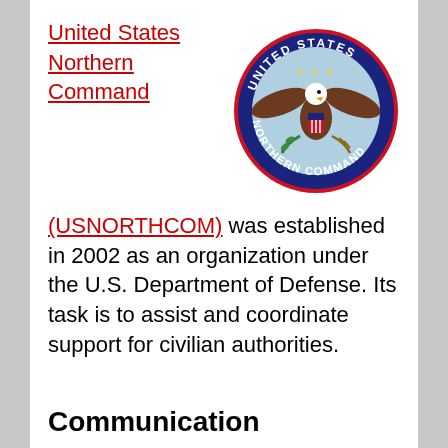United States Northern Command (USNORTHCOM) was established in 2002 as an organization under the U.S. Department of Defense. Its task is to assist and coordinate support for civilian authorities.
[Figure (logo): United States Northern Command (USNORTHCOM) official seal — circular badge with blue border, red ring, text 'UNITED STATES' at top and 'NORTHERN COMMAND' at bottom in white, featuring a bald eagle with shield and olive branch on a light blue background with gold stars.]
Communication